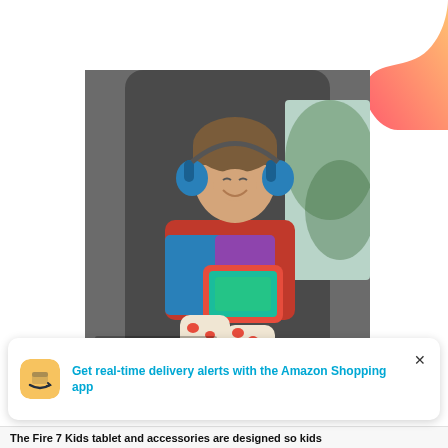[Figure (illustration): Decorative gradient blob shape in orange-pink, top-right corner]
[Figure (photo): Child sitting in a car seat smiling, wearing blue headphones and holding a red Amazon Fire Kids tablet. Caption reads: Headphones sold separately]
Headphones sold separately
Get real-time delivery alerts with the Amazon Shopping app
The Fire 7 Kids tablet and accessories are designed so kids